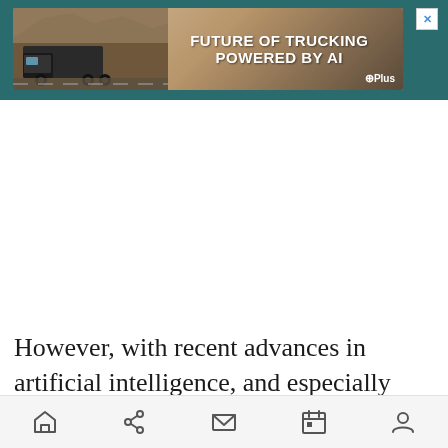[Figure (screenshot): Advertisement banner: 'FUTURE OF TRUCKING POWERED BY AI' with truck image on teal background, GPlus logo, and X close button]
However, with recent advances in artificial intelligence, and especially natural language processing (NLP), we finally have the technological tools for tapping into the power and complexity of
[Figure (infographic): Mobile bottom navigation bar with home, share, mail, calendar, and profile icons]